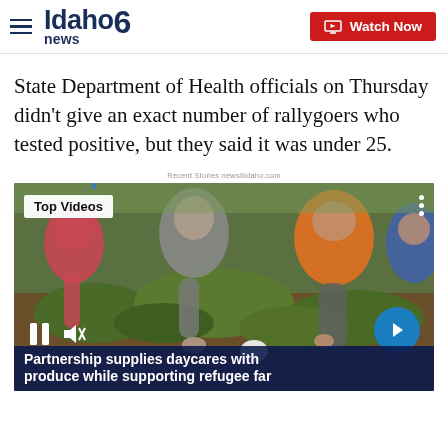Idaho News 6 | Watch Now
State Department of Health officials on Thursday didn't give an exact number of rallygoers who tested positive, but they said it was under 25.
Recent Stories news6idaho.com
[Figure (screenshot): Video player showing people working in a garden/farm. Top Videos badge visible. Pause and mute controls at bottom left. Next arrow button at bottom right. Caption bar reads: Partnership supplies daycares with produce while supporting refugee far…]
Partnership supplies daycares with produce while supporting refugee fa…